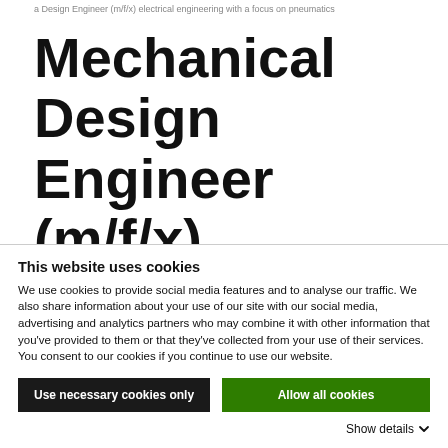a Design Engineer (m/f/x) electrical engineering with a focus on pneumatics
Mechanical Design Engineer (m/f/x) electrical
This website uses cookies
We use cookies to provide social media features and to analyse our traffic. We also share information about your use of our site with our social media, advertising and analytics partners who may combine it with other information that you've provided to them or that they've collected from your use of their services. You consent to our cookies if you continue to use our website.
Use necessary cookies only
Allow all cookies
Show details